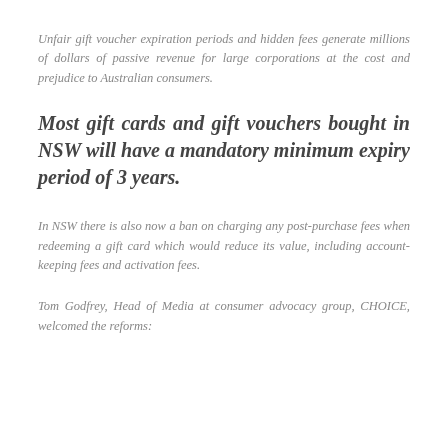Unfair gift voucher expiration periods and hidden fees generate millions of dollars of passive revenue for large corporations at the cost and prejudice to Australian consumers.
Most gift cards and gift vouchers bought in NSW will have a mandatory minimum expiry period of 3 years.
In NSW there is also now a ban on charging any post-purchase fees when redeeming a gift card which would reduce its value, including account-keeping fees and activation fees.
Tom Godfrey, Head of Media at consumer advocacy group, CHOICE, welcomed the reforms: